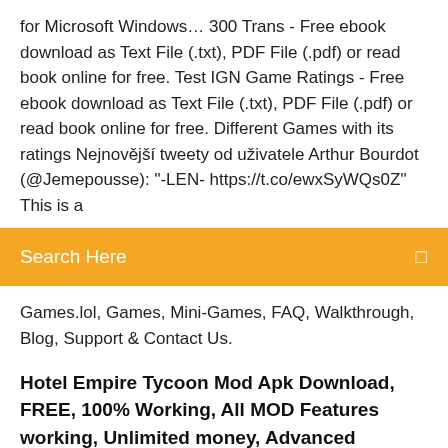for Microsoft Windows… 300 Trans - Free ebook download as Text File (.txt), PDF File (.pdf) or read book online for free. Test IGN Game Ratings - Free ebook download as Text File (.txt), PDF File (.pdf) or read book online for free. Different Games with its ratings Nejnovější tweety od uživatele Arthur Bourdot (@Jemepousse): "-LEN- https://t.co/ewxSyWQs0Z" This is a
[Figure (other): Orange search bar with text 'Search Here' and a search icon on the right]
Games.lol, Games, Mini-Games, FAQ, Walkthrough, Blog, Support & Contact Us.
Hotel Empire Tycoon Mod Apk Download, FREE, 100% Working, All MOD Features working, Unlimited money, Advanced Graphics, 100% Safe, No-root needed
This is a user sitemap for easier navigation on Games.lol. It contains all the pages that are available on the site. It includes Home, About Games.lol, Games, Mini-Games, FAQ, Walkthrough, Blog, Support & Contact Us. Wallace And Gromit Episode 2: The